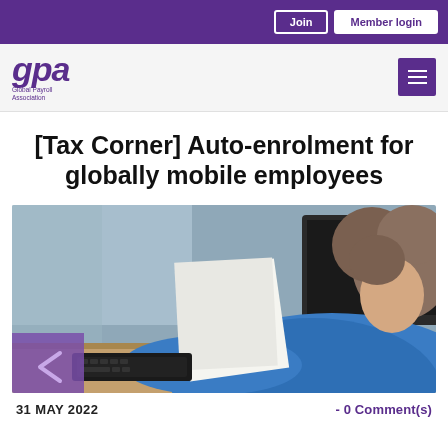Join | Member login
[Figure (logo): GPA Global Payroll Association logo in purple]
[Tax Corner] Auto-enrolment for globally mobile employees
[Figure (photo): Woman in blue blazer reviewing documents at a desk with a keyboard and monitor in background]
31 MAY 2022
- 0 Comment(s)